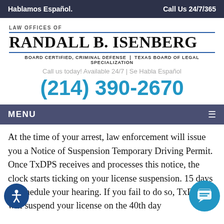Hablamos Español.   Call Us 24/7/365
[Figure (logo): Law Offices of Randall B. Isenberg logo with board certified criminal defense Texas Board of Legal Specialization tagline, phone number (214) 390-2670]
Call us today! Available 24/7 | Se Habla Español
(214) 390-2670
MENU
At the time of your arrest, law enforcement will issue you a Notice of Suspension Temporary Driving Permit. Once TxDPS receives and processes this notice, the clock starts ticking on your license suspension. 15 days to schedule your hearing. If you fail to do so, TxDPS will suspend your license on the 40th day